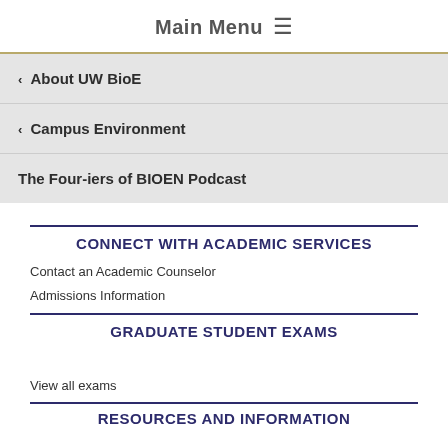Main Menu ≡
‹ About UW BioE
‹ Campus Environment
The Four-iers of BIOEN Podcast
CONNECT WITH ACADEMIC SERVICES
Contact an Academic Counselor
Admissions Information
GRADUATE STUDENT EXAMS
View all exams
RESOURCES AND INFORMATION